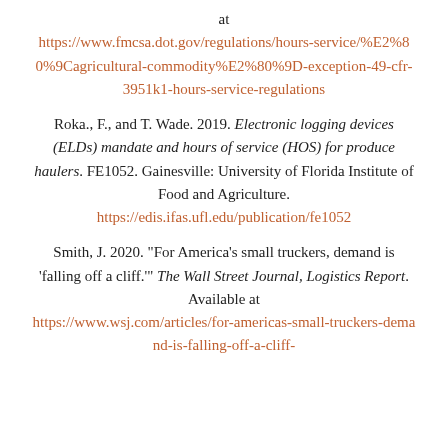at https://www.fmcsa.dot.gov/regulations/hours-service/%E2%80%9Cagricultural-commodity%E2%80%9D-exception-49-cfr-3951k1-hours-service-regulations
Roka., F., and T. Wade. 2019. Electronic logging devices (ELDs) mandate and hours of service (HOS) for produce haulers. FE1052. Gainesville: University of Florida Institute of Food and Agriculture. https://edis.ifas.ufl.edu/publication/fe1052
Smith, J. 2020. "For America's small truckers, demand is 'falling off a cliff.'" The Wall Street Journal, Logistics Report. Available at https://www.wsj.com/articles/for-americas-small-truckers-demand-is-falling-off-a-cliff-